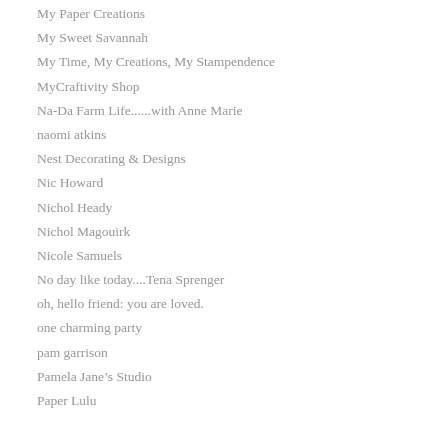My Paper Creations
My Sweet Savannah
My Time, My Creations, My Stampendence
MyCraftivity Shop
Na-Da Farm Life......with Anne Marie
naomi atkins
Nest Decorating & Designs
Nic Howard
Nichol Heady
Nichol Magouirk
Nicole Samuels
No day like today....Tena Sprenger
oh, hello friend: you are loved.
one charming party
pam garrison
Pamela Jane’s Studio
Paper Lulu